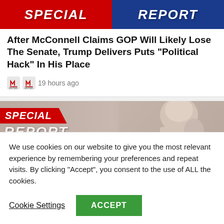[Figure (screenshot): Special Report banner with red left half and blue right half, bold white italic text 'SPECIAL' on red and 'REPORT' on blue]
After McConnell Claims GOP Will Likely Lose The Senate, Trump Delivers Puts “Political Hack” In His Place
19 hours ago
[Figure (screenshot): Second Special Report banner with red diagonal badge saying SPECIAL and partial text REPORT below, with a blurred photo of an elderly man on the right side]
We use cookies on our website to give you the most relevant experience by remembering your preferences and repeat visits. By clicking “Accept”, you consent to the use of ALL the cookies.
Cookie Settings
ACCEPT